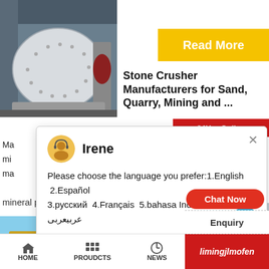[Figure (photo): Industrial ball mill or grinding machine in a factory setting, white cylindrical drum]
Read More
Stone Crusher Manufacturers for Sand, Quarry, Mining and ...
24Hrs Online
Ma
mi
ma
[Figure (screenshot): Chat popup with agent Irene offering language selection: 1.English 2.Español 3.русский 4.Français 5.bahasa Indonesia 6. عربيعربى]
mineral processing equipment.The
[Figure (photo): Person on phone, customer service representative]
1
Need qu & suggestion?
Chat Now
[Figure (photo): Mining crusher machinery outdoors with blue sky]
Crusher
Enquiry
limingjlmofen
HOME   PROUDCTS   NEWS